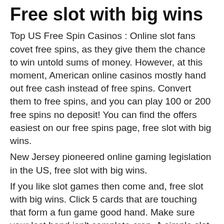Free slot with big wins
Top US Free Spin Casinos : Online slot fans covet free spins, as they give them the chance to win untold sums of money. However, at this moment, American online casinos mostly hand out free cash instead of free spins. Convert them to free spins, and you can play 100 or 200 free spins no deposit! You can find the offers easiest on our free spins page, free slot with big wins.
New Jersey pioneered online gaming legislation in the US, free slot with big wins.
If you like slot games then come and, free slot with big wins. Click 5 cards that are touching that form a fun game good hand. Make sure your last hand isn't complete crap. A simple slot fun game when you can easily win a fun game lot of money. Great roulette fun game with classic rules